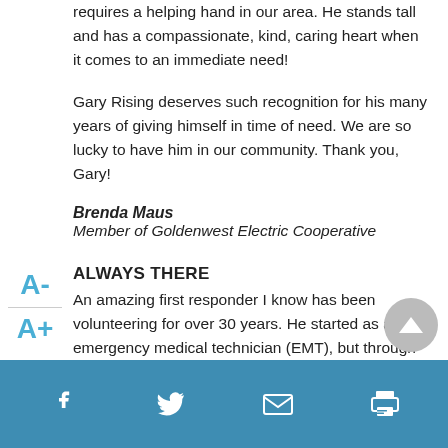requires a helping hand in our area. He stands tall and has a compassionate, kind, caring heart when it comes to an immediate need!
Gary Rising deserves such recognition for his many years of giving himself in time of need. We are so lucky to have him in our community. Thank you, Gary!
Brenda Maus
Member of Goldenwest Electric Cooperative
ALWAYS THERE
An amazing first responder I know has been volunteering for over 30 years. He started as an emergency medical technician (EMT), but through
42% read